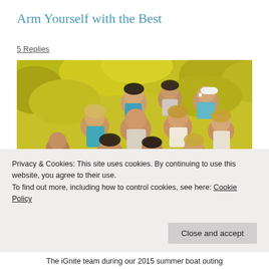Arm Yourself with the Best
5 Replies
[Figure (photo): Group photo of the iGnite team, approximately 9 women posing together outdoors with yellow-green foliage trees in the background and water visible. One woman is wearing a white cap.]
Privacy & Cookies: This site uses cookies. By continuing to use this website, you agree to their use.
To find out more, including how to control cookies, see here: Cookie Policy
Close and accept
The iGnite team during our 2015 summer boat outing